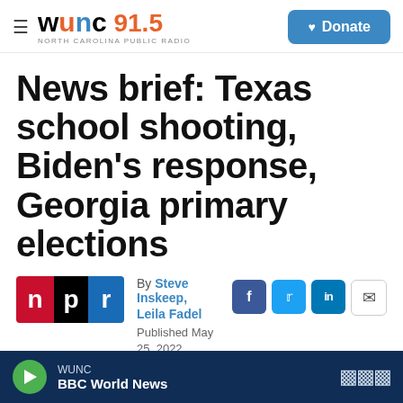WUNC 91.5 NORTH CAROLINA PUBLIC RADIO | Donate
News brief: Texas school shooting, Biden's response, Georgia primary elections
By Steve Inskeep, Leila Fadel
Published May 25, 2022 at 5:03 AM EDT
LISTEN • 11:05
WUNC BBC World News